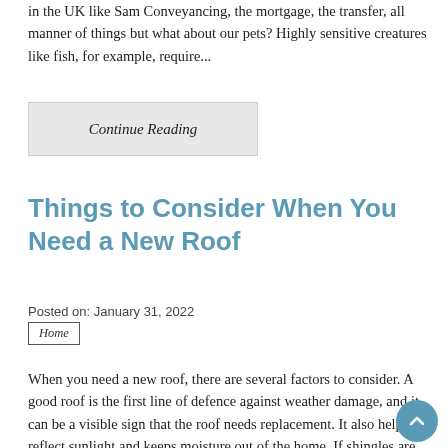in the UK like Sam Conveyancing, the mortgage, the transfer, all manner of things but what about our pets? Highly sensitive creatures like fish, for example, require...
Continue Reading
Things to Consider When You Need a New Roof
Posted on: January 31, 2022
Home
When you need a new roof, there are several factors to consider. A good roof is the first line of defence against weather damage, and it can be a visible sign that the roof needs replacement. It also helps reflect sunlight and keeps moisture out of the home. If shingles are worn, you should